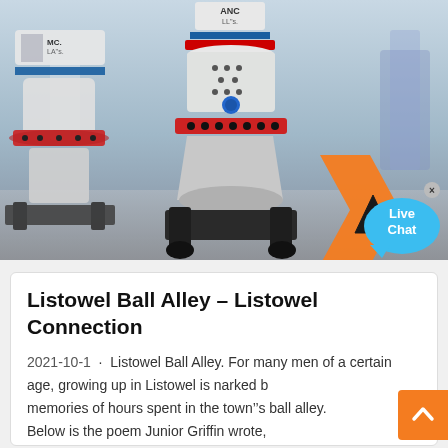[Figure (photo): Industrial cone crushers (mining/quarry machines) displayed in a warehouse or factory setting. White and red machines with branding. A 'Live Chat' speech bubble overlay appears in the lower right corner with an orange chevron shape behind it.]
Listowel Ball Alley – Listowel Connection
2021-10-1 · Listowel Ball Alley. For many men of a certain age, growing up in Listowel is narked by memories of hours spent in the town''s ball alley. Below is the poem Junior Griffin wrote, remembering those halcyon days when his